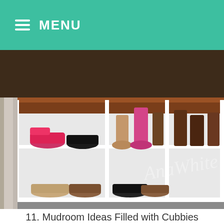MENU
[Figure (photo): A mudroom shoe cubby with white shelving units filled with various shoes and boots. A dark wooden bench top sits above the cubbies. A grey rug is visible on the floor. Watermark reads 'AnaWhite'.]
11. Mudroom Ideas Filled with Cubbies
There’s enough space to accommodate people’s stuff.
We use cookies to ensure that we give you the best experience on our website. If you continue to use this site we will assume that you are happy with it.
Ok